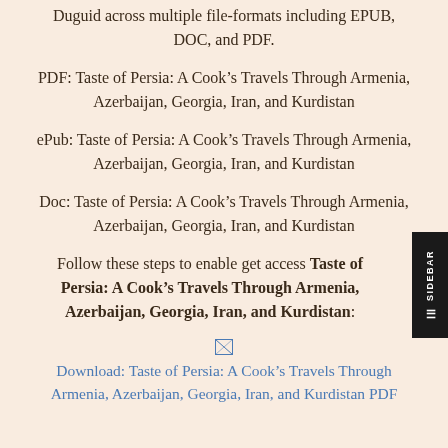Duguid across multiple file-formats including EPUB, DOC, and PDF.
PDF: Taste of Persia: A Cook’s Travels Through Armenia, Azerbaijan, Georgia, Iran, and Kurdistan
ePub: Taste of Persia: A Cook’s Travels Through Armenia, Azerbaijan, Georgia, Iran, and Kurdistan
Doc: Taste of Persia: A Cook’s Travels Through Armenia, Azerbaijan, Georgia, Iran, and Kurdistan
Follow these steps to enable get access Taste of Persia: A Cook’s Travels Through Armenia, Azerbaijan, Georgia, Iran, and Kurdistan:
[Figure (other): Broken image icon followed by link text: Download: Taste of Persia: A Cook’s Travels Through Armenia, Azerbaijan, Georgia, Iran, and Kurdistan PDF]